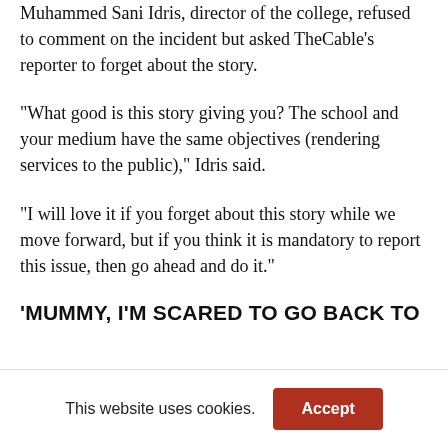Muhammed Sani Idris, director of the college, refused to comment on the incident but asked TheCable's reporter to forget about the story.
“What good is this story giving you? The school and your medium have the same objectives (rendering services to the public),” Idris said.
“I will love it if you forget about this story while we move forward, but if you think it is mandatory to report this issue, then go ahead and do it.”
‘MUMMY, I’M SCARED TO GO BACK TO
This website uses cookies.